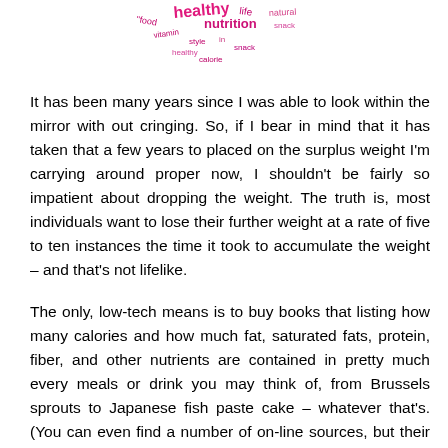[Figure (illustration): Word cloud with health-related terms in pink/magenta colors: healthy, life, natural, food, nutrition, vitamin, snack, and others]
It has been many years since I was able to look within the mirror with out cringing. So, if I bear in mind that it has taken that a few years to placed on the surplus weight I'm carrying around proper now, I shouldn't be fairly so impatient about dropping the weight. The truth is, most individuals want to lose their further weight at a rate of five to ten instances the time it took to accumulate the weight – and that's not lifelike.
The only, low-tech means is to buy books that listing how many calories and how much fat, saturated fats, protein, fiber, and other nutrients are contained in pretty much every meals or drink you may think of, from Brussels sprouts to Japanese fish paste cake – whatever that's. (You can even find a number of on-line sources, but their places change incessantly. Search on "calorie counter" and